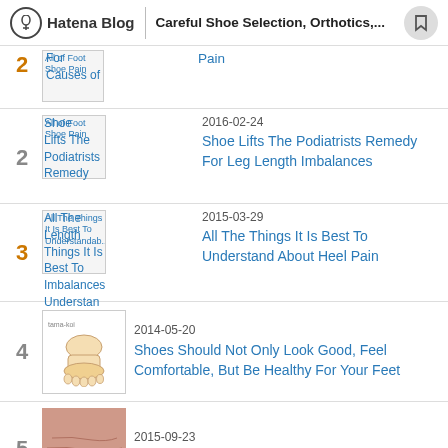Hatena Blog | Careful Shoe Selection, Orthotics,...
2 | [image: All of Foot Shoe Pain] All of Foot Shoe Pain | 2016-02-24 | Shoe Lifts The Podiatrists Remedy For Leg Length Imbalances
3 | [image: All The Things It Is Best To Understand] All The Things It Is Best To Understan... | 2015-03-29 | All The Things It Is Best To Understand About Heel Pain
4 | [image: ankle anatomy] 2014-05-20 | Shoes Should Not Only Look Good, Feel Comfortable, But Be Healthy For Your Feet
5 | [image: heel photo] 2015-09-23 | What Is The Best Treatment For Calcaneal Spur